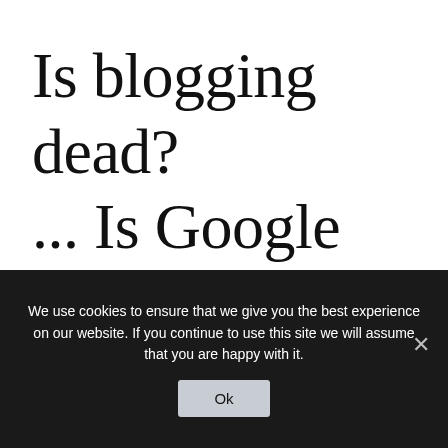Is blogging dead? ... Is Google dead?
We use cookies to ensure that we give you the best experience on our website. If you continue to use this site we will assume that you are happy with it.